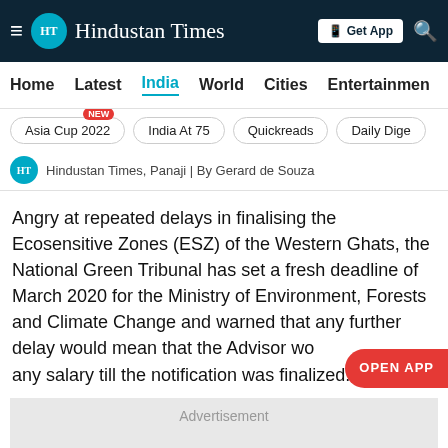HT Hindustan Times | Get App
Home  Latest  India  World  Cities  Entertainment
Asia Cup 2022 NEW
India At 75
Quickreads
Daily Dige
Hindustan Times, Panaji | By Gerard de Souza
Angry at repeated delays in finalising the Ecosensitive Zones (ESZ) of the Western Ghats, the National Green Tribunal has set a fresh deadline of March 2020 for the Ministry of Environment, Forests and Climate Change and warned that any further delay would mean that the Advisor wo any salary till the notification was finalized.
Advertisement